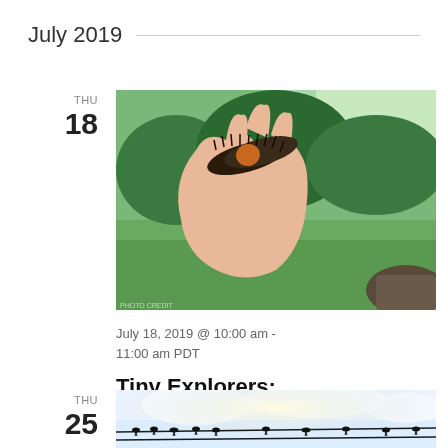July 2019
THU
18
[Figure (photo): A hand holding a fuzzy caterpillar (woolly bear type) with green grass and trees in the background outdoors.]
July 18, 2019 @ 10:00 am - 11:00 am PDT
Tiny Explorers: Gettin’ Buggy!
Miller’s landing park 80 NW Riverside Blvd., Bend, OR
Free
THU
25
[Figure (photo): Birds silhouetted on wires against a bright cloudy sky, partially visible at bottom of page.]